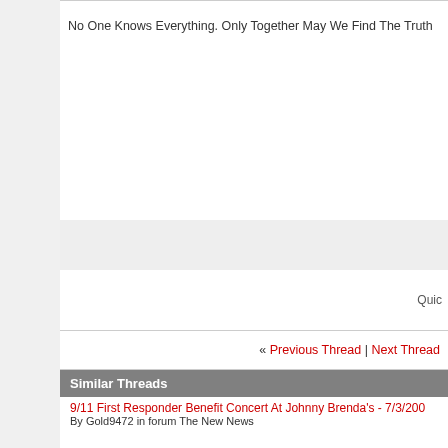No One Knows Everything. Only Together May We Find The Truth
Quic
« Previous Thread | Next Thread
Similar Threads
9/11 First Responder Benefit Concert At Johnny Brenda's - 7/3/200
By Gold9472 in forum The New News
9/11 First Responder Benefit Concert At Johnny Brenda's - 7/3/200
By Gold9472 in forum 9/11 Justice Forum
The 9/11 First Responder Doo Wap Benefit Concert - Video Inside
By Gold9472 in forum 9/11 Justice Forum